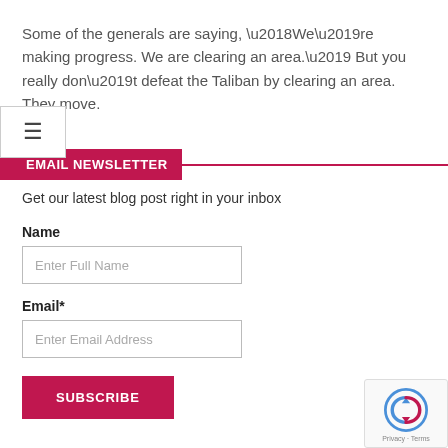Some of the generals are saying, ‘We’re making progress. We are clearing an area.’ But you really don’t defeat the Taliban by clearing an area. They move.
EMAIL NEWSLETTER
Get our latest blog post right in your inbox
Name
Enter Full Name
Email*
Enter Email Address
SUBSCRIBE